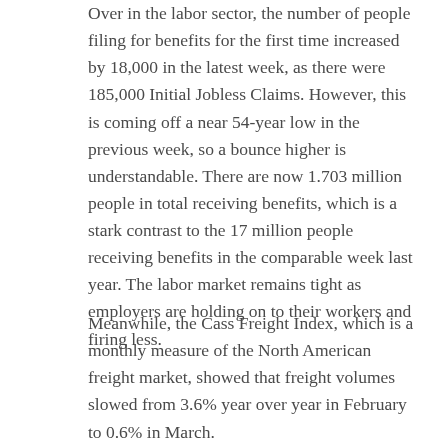Over in the labor sector, the number of people filing for benefits for the first time increased by 18,000 in the latest week, as there were 185,000 Initial Jobless Claims. However, this is coming off a near 54-year low in the previous week, so a bounce higher is understandable. There are now 1.703 million people in total receiving benefits, which is a stark contrast to the 17 million people receiving benefits in the comparable week last year. The labor market remains tight as employers are holding on to their workers and firing less.
Meanwhile, the Cass Freight Index, which is a monthly measure of the North American freight market, showed that freight volumes slowed from 3.6% year over year in February to 0.6% in March.